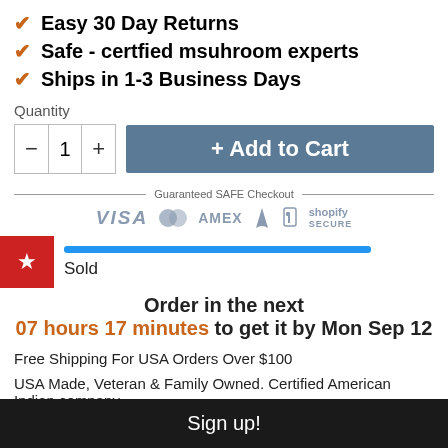Easy 30 Day Returns
Safe - certfied msuhroom experts
Ships in 1-3 Business Days
Quantity
[Figure (screenshot): Quantity selector with minus, 1, plus buttons and Add to Cart button]
[Figure (infographic): Guaranteed SAFE Checkout with VISA, Mastercard, AMEX, PayPal, Shopify Secure icons]
[Figure (infographic): Red star badge with blue progress bar and Sold text]
Order in the next 07 hours 17 minutes to get it by Mon Sep 12
Free Shipping For USA Orders Over $100
USA Made, Veteran & Family Owned. Certified American Indian company
Sign up!